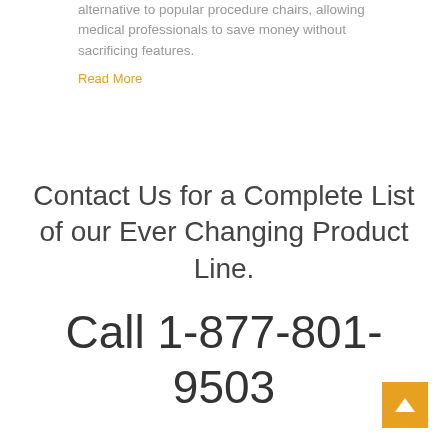alternative to popular procedure chairs, allowing medical professionals to save money without sacrificing features.
Read More
Contact Us for a Complete List of our Ever Changing Product Line.
Call 1-877-801-9503